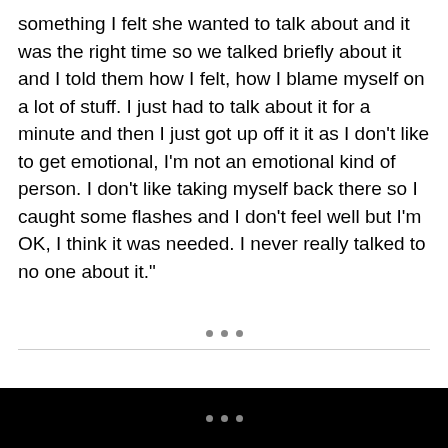something I felt she wanted to talk about and it was the right time so we talked briefly about it and I told them how I felt, how I blame myself on a lot of stuff. I just had to talk about it for a minute and then I just got up off it it as I don’t like to get emotional, I’m not an emotional kind of person. I don’t like taking myself back there so I caught some flashes and I don’t feel well but I’m OK, I think it was needed. I never really talked to no one about it.”
• • •